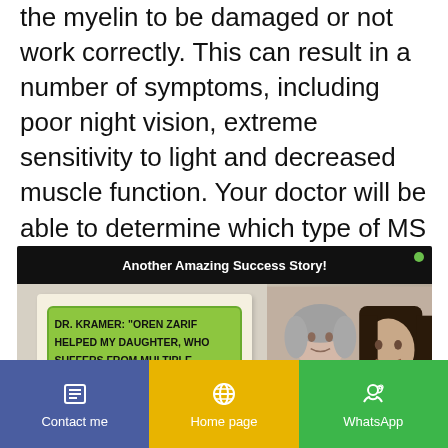the myelin to be damaged or not work correctly. This can result in a number of symptoms, including poor night vision, extreme sensitivity to light and decreased muscle function. Your doctor will be able to determine which type of MS you have used certain tests, so get regular MS testing.
[Figure (infographic): Advertisement banner with black header 'Another Amazing Success Story!' and content showing a torn paper with bold green text quote: 'DR. KRAMER: "OREN ZARIF HELPED MY DAUGHTER, WHO SUFFERS FROM MULTIPLE SCLEROSIS, VERY MUCH"' with Oren Zarif YouTube branding, and a photo of an older woman and younger man. A back-to-top arrow button is visible.]
Contact me | Home page | WhatsApp